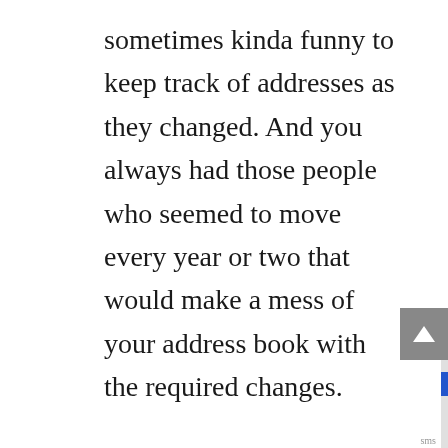sometimes kinda funny to keep track of addresses as they changed. And you always had those people who seemed to move every year or two that would make a mess of your address book with the required changes.
The address book was the place where you also might record birthdays and anniversaries. And frankly that address book never did a very good job or helping your remember birthdays. But it was what we used.
Today, that has all changed with a variety of tools that are available to store contact, address and even birthday information. On the iPhone, the built-in tool for contacts is the Contacts app...